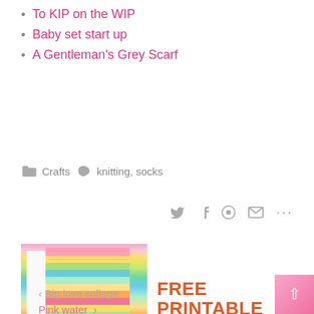To KIP on the WIP
Baby set start up
A Gentleman's Grey Scarf
Crafts   knitting, socks
[Figure (infographic): FREE PRINTABLE banner ad: photo of hands holding rainbow-striped pages with text 'FREE PRINTABLE three pages of inspirational quotes to print for your journal, diary or planner']
< Big love collage
Pink water >